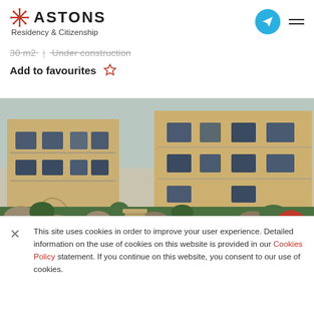ASTONS Residency & Citizenship
30 m2 | Under construction
Add to favourites ☆
[Figure (photo): Multi-storey residential apartment complex with balconies, beige/yellow exterior, surrounded by landscaped gardens with rocks and greenery.]
This site uses cookies in order to improve your user experience. Detailed information on the use of cookies on this website is provided in our Cookies Policy statement. If you continue on this website, you consent to our use of cookies.